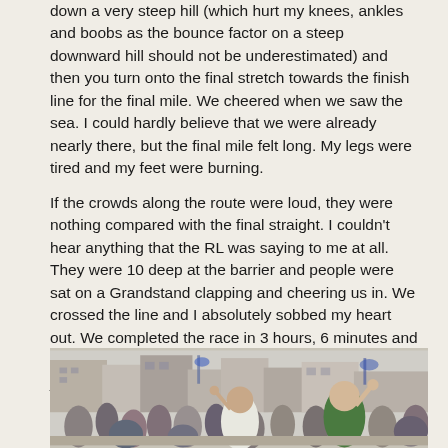down a very steep hill (which hurt my knees, ankles and boobs as the bounce factor on a steep downward hill should not be underestimated) and then you turn onto the final stretch towards the finish line for the final mile. We cheered when we saw the sea. I could hardly believe that we were already nearly there, but the final mile felt long. My legs were tired and my feet were burning.
If the crowds along the route were loud, they were nothing compared with the final straight. I couldn't hear anything that the RL was saying to me at all. They were 10 deep at the barrier and people were sat on a Grandstand clapping and cheering us in. We crossed the line and I absolutely sobbed my heart out. We completed the race in 3 hours, 6 minutes and 15 seconds. It was slow, but I genuinely didn't care a jot. It was magnificent and I truly count the GNR as one of my greatest ever achievements.
[Figure (photo): Crowd of runners and spectators at a road race finish area, with buildings and banners visible in the background. A young man in a green shirt is prominently visible with his hand raised.]